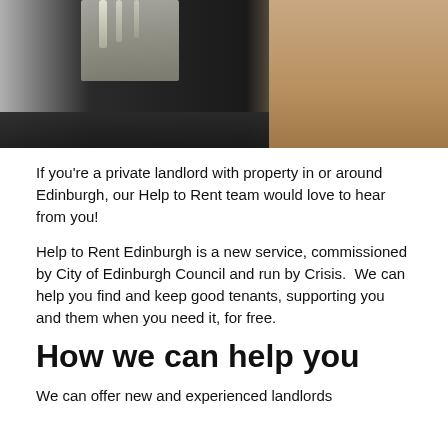[Figure (photo): A person in dark clothing holding keys, with a beige/tan background visible to the right. The image is cropped showing primarily the upper body and keys being held up.]
If you're a private landlord with property in or around Edinburgh, our Help to Rent team would love to hear from you!
Help to Rent Edinburgh is a new service, commissioned by City of Edinburgh Council and run by Crisis.  We can help you find and keep good tenants, supporting you and them when you need it, for free.
How we can help you
We can offer new and experienced landlords